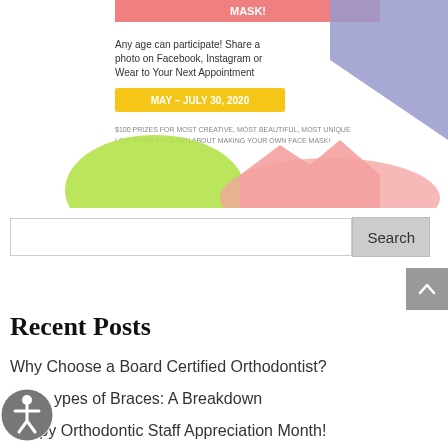[Figure (illustration): Orthodontic practice social media flyer with colorful abstract shapes. Text reads: MASK! Any age can participate! Share a photo on Facebook, Instagram or Wear to Your Next Appointment. MAY - JULY 30, 2020. $100 PRIZES FOR MOST CREATIVE, MOST BEAUTIFUL, MOST UNIQUE. LINK IN BIO TO LEARN ABOUT MAKING YOUR OWN FACE MASK!]
Search
Recent Posts
Why Choose a Board Certified Orthodontist?
Types of Braces: A Breakdown
Happy Orthodontic Staff Appreciation Month!